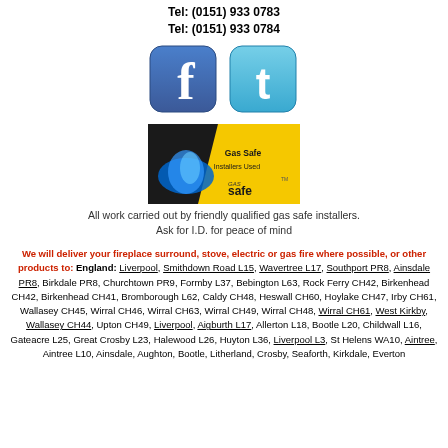Tel: (0151) 933 0783
Tel: (0151) 933 0784
[Figure (logo): Facebook and Twitter social media icons side by side]
[Figure (logo): Gas Safe Installers Used badge with blue gas flame and yellow Gas Safe logo]
All work carried out by friendly qualified gas safe installers. Ask for I.D. for peace of mind
We will deliver your fireplace surround, stove, electric or gas fire where possible, or other products to: England: Liverpool, Smithdown Road L15, Wavertree L17, Southport PR8, Ainsdale PR8, Birkdale PR8, Churchtown PR9, Formby L37, Bebington L63, Rock Ferry CH42, Birkenhead CH42, Birkenhead CH41, Bromborough L62, Caldy CH48, Heswall CH60, Hoylake CH47, Irby CH61, Wallasey CH45, Wirral CH46, Wirral CH63, Wirral CH49, Wirral CH48, Wirral CH61, West Kirkby, Wallasey CH44, Upton CH49, Liverpool, Aigburth L17, Allerton L18, Bootle L20, Childwall L16, Gateacre L25, Great Crosby L23, Halewood L26, Huyton L36, Liverpool L3, St Helens WA10, Aintree, Aintree L10, Ainsdale, Aughton, Bootle, Litherland, Crosby, Seaforth, Kirkdale, Everton